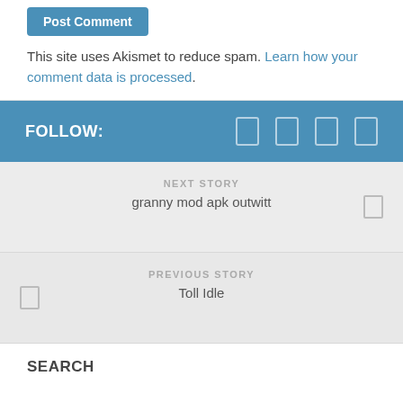Post Comment (button)
This site uses Akismet to reduce spam. Learn how your comment data is processed.
FOLLOW:
NEXT STORY
granny mod apk outwitt
PREVIOUS STORY
Toll Idle
SEARCH